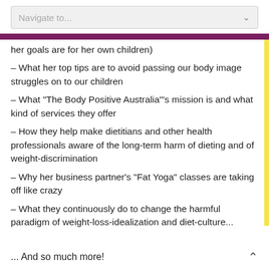Navigate to...
her goals are for her own children)
– What her top tips are to avoid passing our body image struggles on to our children
– What “The Body Positive Australia’”s mission is and what kind of services they offer
– How they help make dietitians and other health professionals aware of the long-term harm of dieting and of weight-discrimination
– Why her business partner’s “Fat Yoga” classes are taking off like crazy
– What they continuously do to change the harmful paradigm of weight-loss-idealization and diet-culture...
... And so much more!